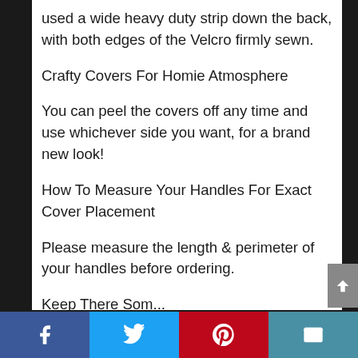used a wide heavy duty strip down the back, with both edges of the Velcro firmly sewn.
Crafty Covers For Homie Atmosphere
You can peel the covers off any time and use whichever side you want, for a brand new look!
How To Measure Your Handles For Exact Cover Placement
Please measure the length & perimeter of your handles before ordering.
Keep These Somewhere And No M...